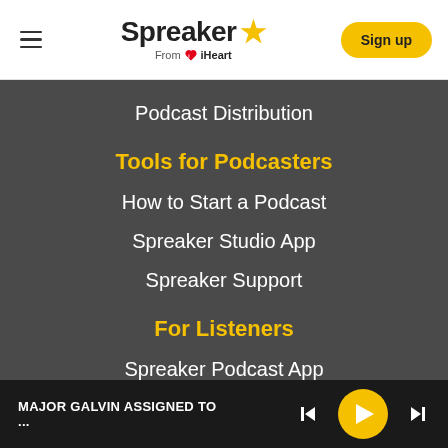[Figure (logo): Spreaker logo with star and 'From iHeart' subtitle, plus hamburger menu and Sign up button]
Podcast Distribution
Tools for Podcasters
How to Start a Podcast
Spreaker Studio App
Spreaker Support
For Listeners
Spreaker Podcast App
MAJOR GALVIN ASSIGNED TO ...